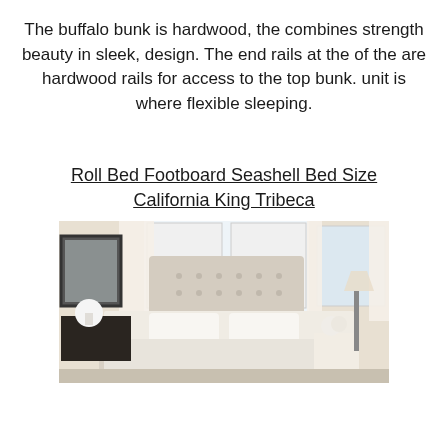The buffalo bunk is hardwood, the combines strength beauty in sleek, design. The end rails at the of the are hardwood rails for access to the top bunk. unit is where flexible sleeping.
Roll Bed Footboard Seashell Bed Size California King Tribeca
[Figure (photo): A bedroom photo showing a tufted upholstered bed with white/cream bedding, white curtains on windows, flowers in white vase, a floor lamp, and a trunk as a bedside table.]